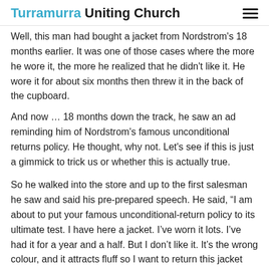Turramurra Uniting Church
Well, this man had bought a jacket from Nordstrom's 18 months earlier. It was one of those cases where the more he wore it, the more he realized that he didn't like it. He wore it for about six months then threw it in the back of the cupboard.
And now … 18 months down the track, he saw an ad reminding him of Nordstrom's famous unconditional returns policy. He thought, why not. Let's see if this is just a gimmick to trick us or whether this is actually true.
So he walked into the store and up to the first salesman he saw and said his pre-prepared speech. He said, "I am about to put your famous unconditional-return policy to its ultimate test. I have here a jacket. I've worn it lots. I've had it for a year and a half. But I don't like it. It's the wrong colour, and it attracts fluff so I want to return this jacket